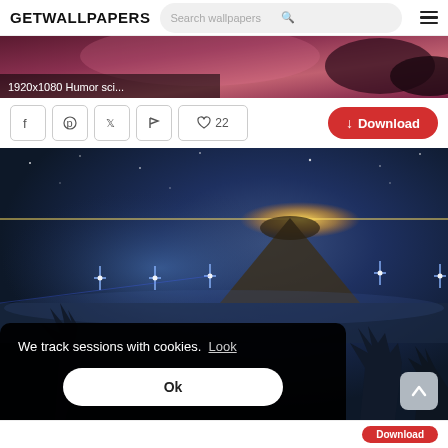GETWALLPAPERS | Search wallpapers
[Figure (screenshot): Partial wallpaper strip showing purple/pink mushroom or floral sci-fi themed wallpaper with overlay text '1920x1080 Humor sci...']
1920x1080 Humor sci...
♡ 22   Download
[Figure (photo): Science fiction landscape wallpaper showing a dark blue night sky with stars, a glowing golden orb/light on the horizon, a mountain silhouette, multiple bright star-burst lights over a misty lake/water, and bare tree silhouettes in the foreground.]
We track sessions with cookies.  Look
Ok